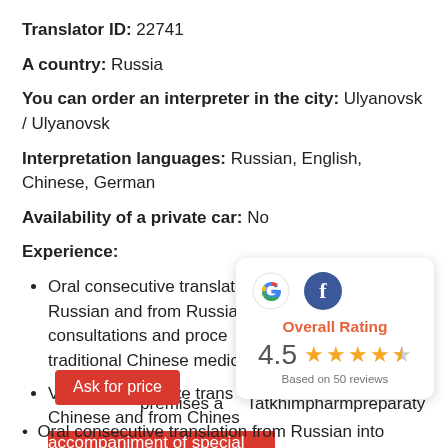Translator ID: 22741
A country: Russia
You can order an interpreter in the city: Ulyanovsk / Ulyanovsk
Interpretation languages: Russian, English, Chinese, German
Availability of a private car: No
Experience:
Oral consecutive translation from Chinese into Russian and from Russian into Chinese during consultations and procedures using methods of traditional Chinese medicine
Verbal consecutive translation from Russian into Chinese and from Chinese ... accompaniment of specialists, premises and Tatkhimpharmpreparaty
Oral consecutive translation from Russian into
[Figure (infographic): Overall Rating widget showing Google and Facebook icons, rating of 4.5 stars out of 5, based on 50 reviews]
Ask for price